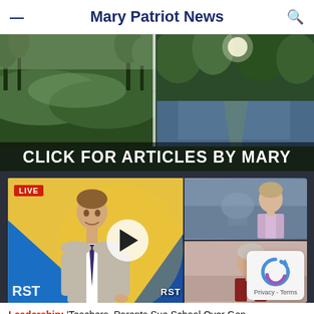Mary Patriot News
[Figure (photo): Banner image with two nature photos side by side (forest/valley on left, sunlit forest path with water on right) with overlay text CLICK FOR ARTICLES BY MARY]
[Figure (screenshot): Live TV broadcast screenshot showing anchor on left with LIVE badge and play button overlay, and two remote guests on right side panels. Caption: Leadership: 'Teachers, Parents Sue School Over Gen... Policy']